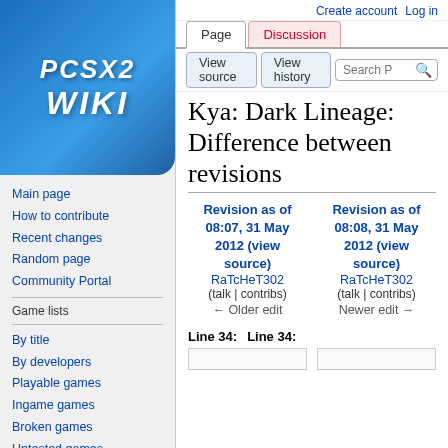[Figure (logo): PCSX2 Wiki logo — blue gradient background with white italic text 'PCSX2' and 'WIKI']
Main page
How to contribute
Recent changes
Random page
Community Portal
Game lists
By title
By developers
Playable games
Ingame games
Broken games
Untested games
Complete List (huge
Create account  Log in
Kya: Dark Lineage: Difference between revisions
| Revision as of 08:07, 31 May 2012 (view source) | Revision as of 08:08, 31 May 2012 (view source) |
| --- | --- |
| RaTcHeT302 | RaTcHeT302 |
| (talk | contribs) | (talk | contribs) |
| ← Older edit | Newer edit → |
Line 34:
Line 34: